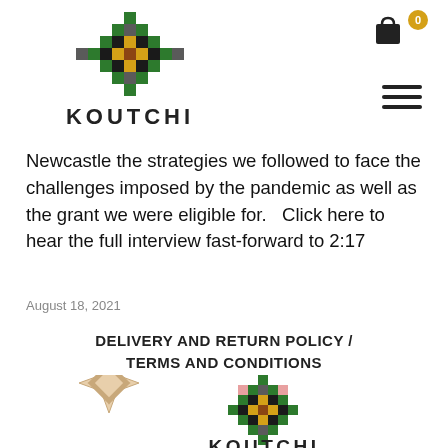[Figure (logo): Koutchi brand logo with geometric mosaic pattern and text KOUTCHI below]
[Figure (other): Shopping bag icon with cart badge showing 0]
[Figure (other): Hamburger menu icon - three horizontal lines]
Newcastle the strategies we followed to face the challenges imposed by the pandemic as well as the grant we were eligible for.   Click here to hear the full interview fast-forward to 2:17
August 18, 2021
DELIVERY AND RETURN POLICY / TERMS AND CONDITIONS
[Figure (logo): Koutchi brand logo partial view at bottom - geometric mosaic pattern with KOUTCHI text, alongside a decorative star/flower motif in cream/beige]